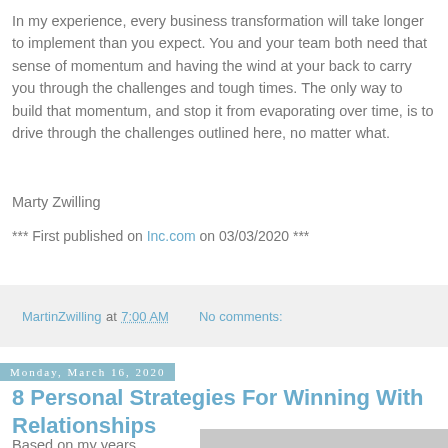In my experience, every business transformation will take longer to implement than you expect. You and your team both need that sense of momentum and having the wind at your back to carry you through the challenges and tough times. The only way to build that momentum, and stop it from evaporating over time, is to drive through the challenges outlined here, no matter what.
Marty Zwilling
*** First published on Inc.com on 03/03/2020 ***
MartinZwilling at 7:00 AM   No comments:
Monday, March 16, 2020
8 Personal Strategies For Winning With Relationships
Based on my years
[Figure (photo): Book cover or article image partially visible at bottom right of page]